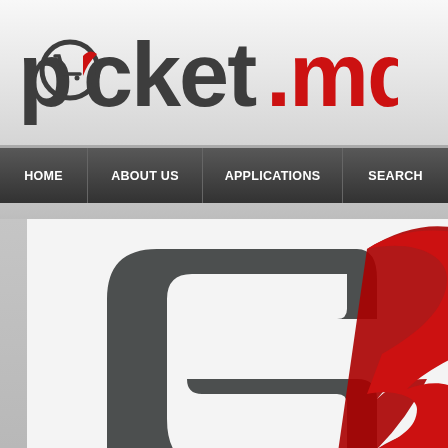[Figure (logo): POCKET.MD logo with shopping cart icon integrated into the letter O, dark gray text with red .MD]
[Figure (screenshot): Website navigation bar with HOME, ABOUT US, APPLICATIONS, SEARCH menu items on dark background]
[Figure (illustration): Large stylized P/pocket logo graphic in dark gray and red, with partial text 'The' and 'in th' visible on the right side]